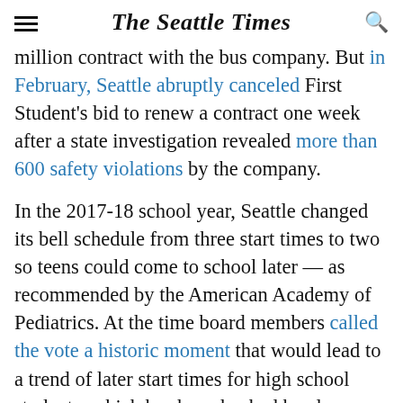The Seattle Times
million contract with the bus company. But in February, Seattle abruptly canceled First Student's bid to renew a contract one week after a state investigation revealed more than 600 safety violations by the company.
In the 2017-18 school year, Seattle changed its bell schedule from three start times to two so teens could come to school later — as recommended by the American Academy of Pediatrics. At the time board members called the vote a historic moment that would lead to a trend of later start times for high school students, which has been backed by sleep scientists and teachers.
But the schedule changes in the 2017-18 school year